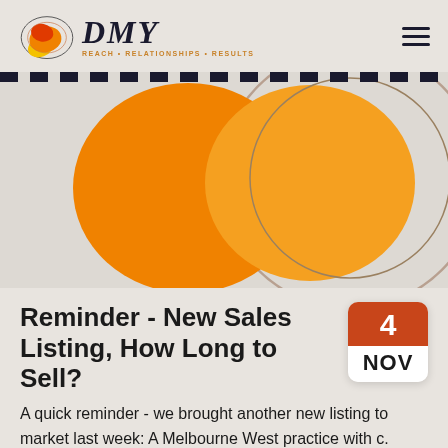[Figure (logo): DMY real estate agency logo with orange flame/leaf graphic and text 'DMY' in serif italic, tagline 'REACH • RELATIONSHIPS • RESULTS']
[Figure (illustration): Abstract decorative graphic with two large orange overlapping circular/blob shapes and a large tan/beige circle outline on a grey background, with a dashed black strip at top]
Reminder - New Sales Listing, How Long to Sell?
[Figure (infographic): Calendar widget showing date 4 NOV with orange top section and white bottom section]
A quick reminder - we brought another new listing to market last week: A Melbourne West practice with c. $700,000 fees. This one Principal practice has a strong local reputation,